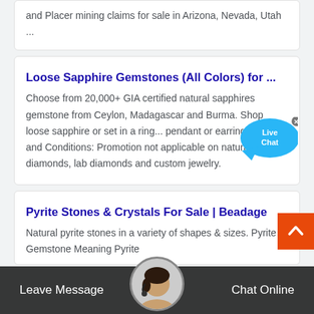and Placer mining claims for sale in Arizona, Nevada, Utah ...
Loose Sapphire Gemstones (All Colors) for ...
Choose from 20,000+ GIA certified natural sapphires gemstone from Ceylon, Madagascar and Burma. Shop loose sapphire or set in a ring... pendant or earrings. Terms and Conditions: Promotion not applicable on natural diamonds, lab diamonds and custom jewelry.
Pyrite Stones & Crystals For Sale | Beadage
Natural pyrite stones in a variety of shapes & sizes. Pyrite Gemstone Meaning Pyrite
Leave Message
Chat Online